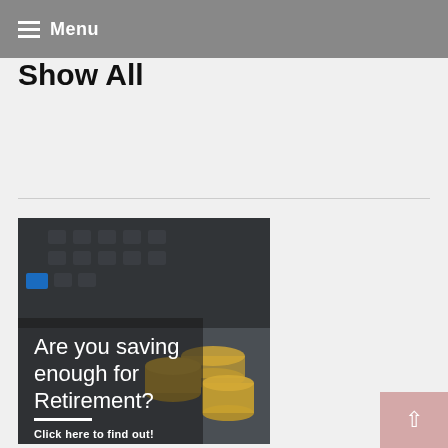Menu
Show All
[Figure (photo): A banner advertisement showing a calculator and stacked coins with text 'Are you saving enough for Retirement? Click here to find out!']